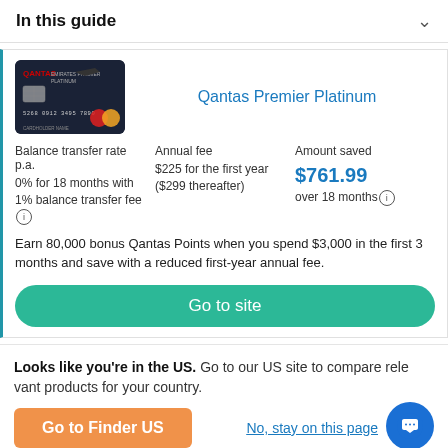In this guide
[Figure (photo): Qantas Premier Platinum credit card image - dark/black card with Mastercard logo]
Qantas Premier Platinum
| Balance transfer rate p.a. | Annual fee | Amount saved |
| --- | --- | --- |
| 0% for 18 months with 1% balance transfer fee (i) | $225 for the first year ($299 thereafter) | $761.99 over 18 months (i) |
Earn 80,000 bonus Qantas Points when you spend $3,000 in the first 3 months and save with a reduced first-year annual fee.
Go to site
Looks like you're in the US. Go to our US site to compare relevant products for your country.
Go to Finder US
No, stay on this page